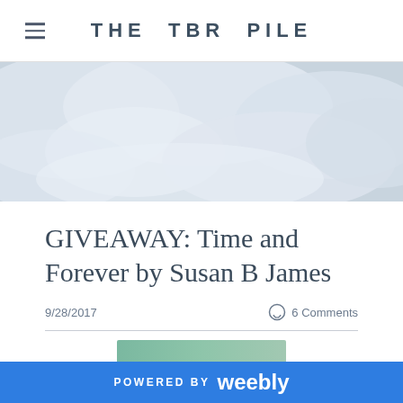THE TBR PILE
[Figure (photo): Soft cloudy sky, light blue-grey tones, blurred background banner image]
GIVEAWAY: Time and Forever by Susan B James
9/28/2017
6 Comments
POWERED BY weebly